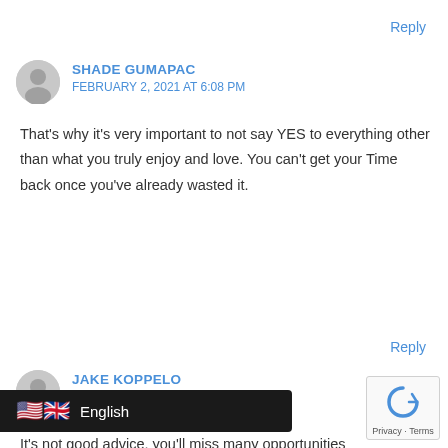Reply
SHADE GUMAPAC
FEBRUARY 2, 2021 AT 6:08 PM
That's why it's very important to not say YES to everything other than what you truly enjoy and love. You can't get your Time back once you've already wasted it.
Reply
JAKE KOPPELO
MARCH 18, 2021 AT 2:56 PM
It's not good advice, you'll miss many opportunities
English